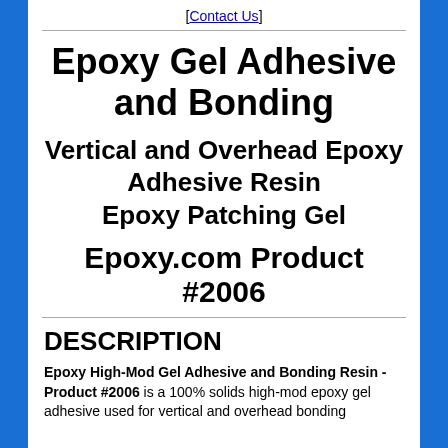[Contact Us]
Epoxy Gel Adhesive and Bonding
Vertical and Overhead Epoxy Adhesive Resin Epoxy Patching Gel
Epoxy.com Product #2006
DESCRIPTION
Epoxy High-Mod Gel Adhesive and Bonding Resin - Product #2006 is a 100% solids high-mod epoxy gel adhesive used for vertical and overhead bonding